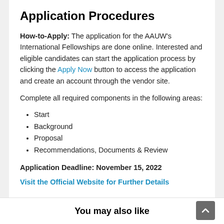Application Procedures
How-to-Apply: The application for the AAUW's International Fellowships are done online. Interested and eligible candidates can start the application process by clicking the Apply Now button to access the application and create an account through the vendor site.
Complete all required components in the following areas:
Start
Background
Proposal
Recommendations, Documents & Review
Application Deadline: November 15, 2022
Visit the Official Website for Further Details
You may also like